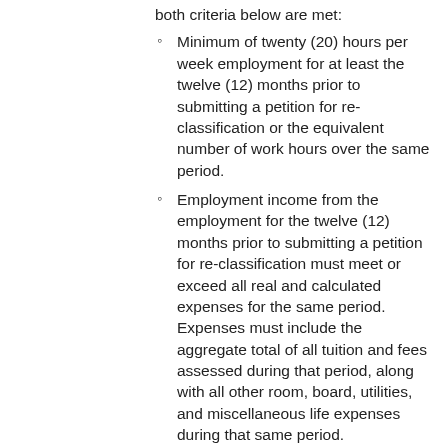both criteria below are met:
Minimum of twenty (20) hours per week employment for at least the twelve (12) months prior to submitting a petition for re-classification or the equivalent number of work hours over the same period.
Employment income from the employment for the twelve (12) months prior to submitting a petition for re-classification must meet or exceed all real and calculated expenses for the same period.  Expenses must include the aggregate total of all tuition and fees assessed during that period, along with all other room, board, utilities, and miscellaneous life expenses during that same period.
For individuals who are self-employed, employment income during the twelve (12) months prior to submitting a petition for re-classification must be thoroughly documented.  Examples of documentation may include copies of receipts for payments for services provided; documentation of